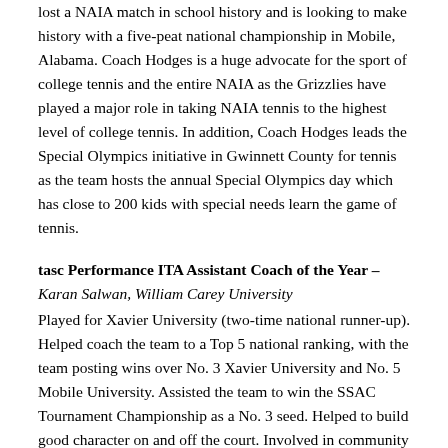lost a NAIA match in school history and is looking to make history with a five-peat national championship in Mobile, Alabama. Coach Hodges is a huge advocate for the sport of college tennis and the entire NAIA as the Grizzlies have played a major role in taking NAIA tennis to the highest level of college tennis. In addition, Coach Hodges leads the Special Olympics initiative in Gwinnett County for tennis as the team hosts the annual Special Olympics day which has close to 200 kids with special needs learn the game of tennis.
tasc Performance ITA Assistant Coach of the Year – Karan Salwan, William Carey University
Played for Xavier University (two-time national runner-up). Helped coach the team to a Top 5 national ranking, with the team posting wins over No. 3 Xavier University and No. 5 Mobile University. Assisted the team to win the SSAC Tournament Championship as a No. 3 seed. Helped to build good character on and off the court. Involved in community service projects.
ITA Arthur Ashe Jr. Leadership & Sportsmanship Award – Joel Montgomery, Indiana Wesleyan University